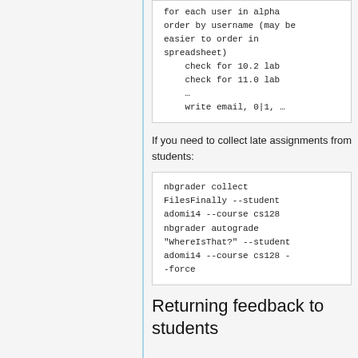for each user in alpha order by username (may be easier to order in spreadsheet)
    check for 10.2 lab
    check for 11.0 lab
    …
    write email, 0|1, …
If you need to collect late assignments from students:
nbgrader collect FilesFinally --student adomi14 --course cs128
nbgrader autograde "WhereIsThat?" --student adomi14 --course cs128 --force
Returning feedback to students